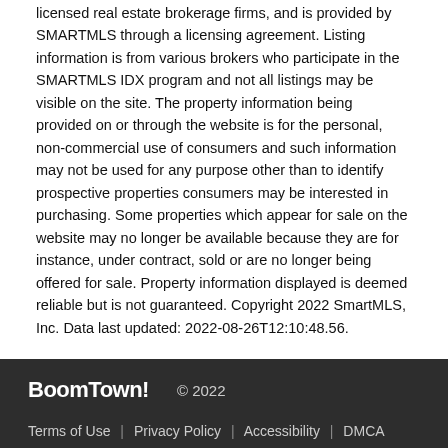licensed real estate brokerage firms, and is provided by SMARTMLS through a licensing agreement. Listing information is from various brokers who participate in the SMARTMLS IDX program and not all listings may be visible on the site. The property information being provided on or through the website is for the personal, non-commercial use of consumers and such information may not be used for any purpose other than to identify prospective properties consumers may be interested in purchasing. Some properties which appear for sale on the website may no longer be available because they are for instance, under contract, sold or are no longer being offered for sale. Property information displayed is deemed reliable but is not guaranteed. Copyright 2022 SmartMLS, Inc. Data last updated: 2022-08-26T12:10:48.56.
BoomTown! © 2022 | Terms of Use | Privacy Policy | Accessibility | DMCA | Listings Sitemap
Take a Tour | Ask A Question